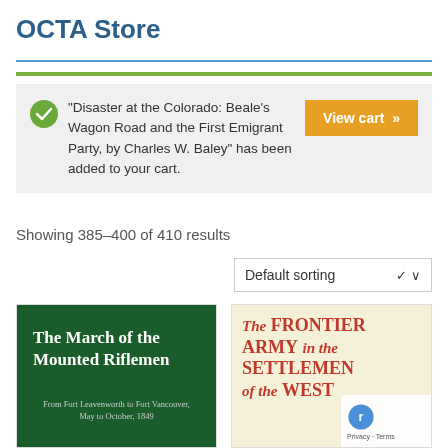OCTA Store
“Disaster at the Colorado: Beale’s Wagon Road and the First Emigrant Party, by Charles W. Baley” has been added to your cart.
View cart »
Showing 385–400 of 410 results
Default sorting
[Figure (photo): Book cover for 'The March of the Mounted Riflemen' with dark green background and white text, subtitle: From Fort Leavenworth to Fort Vancouver, May to October, 1849]
[Figure (photo): Book cover for 'The Frontier Army in the Settlement of the West' with cream background and large red bold text]